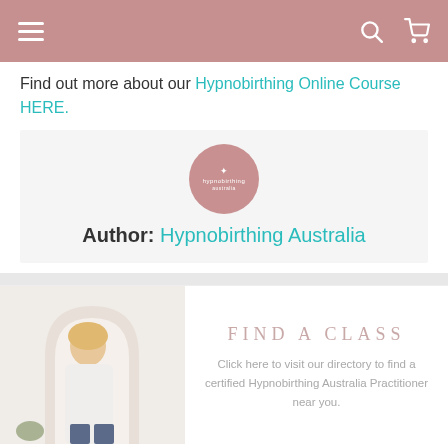Navigation bar with hamburger menu, search icon, and cart icon
Find out more about our Hypnobirthing Online Course HERE.
[Figure (logo): Hypnobirthing Australia circular logo in muted pink/rose color]
Author: Hypnobirthing Australia
[Figure (photo): Woman with blonde hair in white cardigan standing in front of an arch-shaped doorway with light walls]
FIND  A  CLASS
Click here to visit our directory to find a certified Hypnobirthing Australia Practitioner near you.